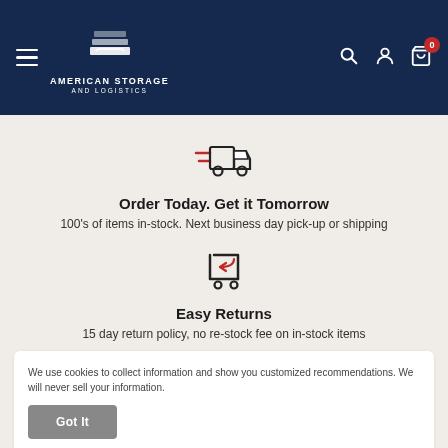[Figure (logo): American Storage and Logistics logo with stacked pages icon in dark navy header with hamburger menu, search, account, and cart icons]
[Figure (illustration): Fast delivery truck icon in red and black outline style]
Order Today. Get it Tomorrow
100's of items in-stock. Next business day pick-up or shipping
[Figure (illustration): Shopping cart with return arrow icon in red and black outline style]
Easy Returns
15 day return policy, no re-stock fee on in-stock items
We use cookies to collect information and show you customized recommendations. We will never sell your information.
Have questions? Give us a call at 866-693-6311